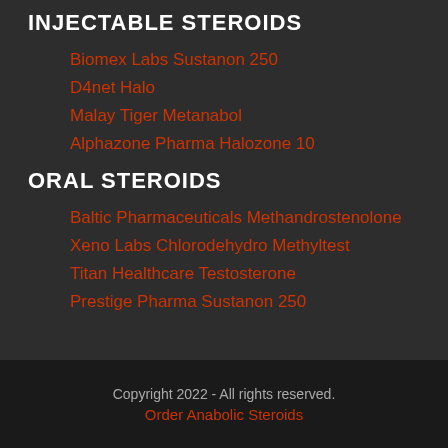INJECTABLE STEROIDS
Biomex Labs Sustanon 250
D4net Halo
Malay Tiger Metanabol
Alphazone Pharma Halozone 10
ORAL STEROIDS
Baltic Pharmaceuticals Methandrostenolone
Xeno Labs Chlorodehydro Methyltest
Titan Healthcare Testosterone
Prestige Pharma Sustanon 250
Copyright 2022 - All rights reserved.
Order Anabolic Steroids